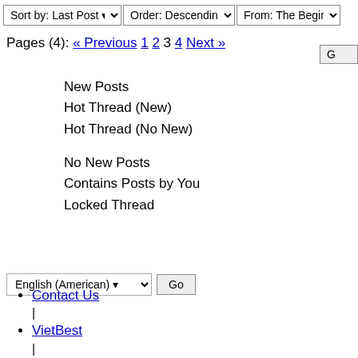Sort by: Last Post | Order: Descending | From: The Beginning
Pages (4): « Previous 1 2 3 4 Next »
New Posts
Hot Thread (New)
Hot Thread (No New)
No New Posts
Contains Posts by You
Locked Thread
English (American) Go
Contact Us
VietBest